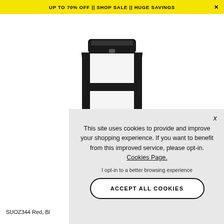UP TO 70% OFF || SHOP SALE || HUGE SAVINGS
[Figure (photo): Product photo of a coffee filter cup, white with black frame and red/brown base detail, top-down angled view on white background]
This site uses cookies to provide and improve your shopping experience. If you want to benefit from this improved service, please opt-in. Cookies Page.
I opt-in to a better browsing experience
ACCEPT ALL COOKIES
SUOZ344 Red, Bl